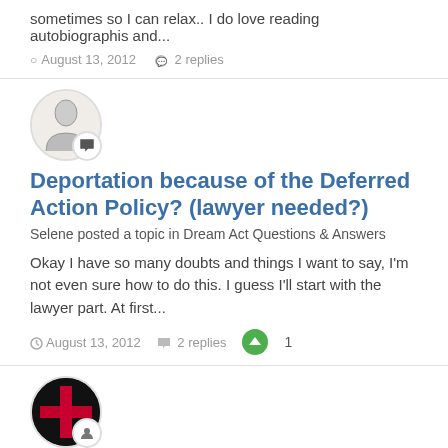sometimes so I can relax.. I do love reading autobiographis and...
August 13, 2012  2 replies
[Figure (illustration): Circular avatar of a person sketch with a chat bubble badge icon]
Deportation because of the Deferred Action Policy? (lawyer needed?)
Selene posted a topic in Dream Act Questions & Answers
Okay I have so many doubts and things I want to say, I'm not even sure how to do this. I guess I'll start with the lawyer part. At first...
August 13, 2012  2 replies  1
[Figure (illustration): Circular red and black striped avatar with a person icon badge]
Admin > Selene
Welcome to the forums Selene 🙂